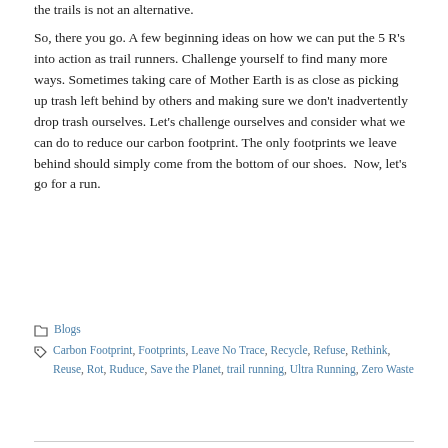the trails is not an alternative.
So, there you go. A few beginning ideas on how we can put the 5 R's into action as trail runners. Challenge yourself to find many more ways. Sometimes taking care of Mother Earth is as close as picking up trash left behind by others and making sure we don't inadvertently drop trash ourselves. Let's challenge ourselves and consider what we can do to reduce our carbon footprint. The only footprints we leave behind should simply come from the bottom of our shoes.  Now, let's go for a run.
Blogs
Carbon Footprint, Footprints, Leave No Trace, Recycle, Refuse, Rethink, Reuse, Rot, Ruduce, Save the Planet, trail running, Ultra Running, Zero Waste